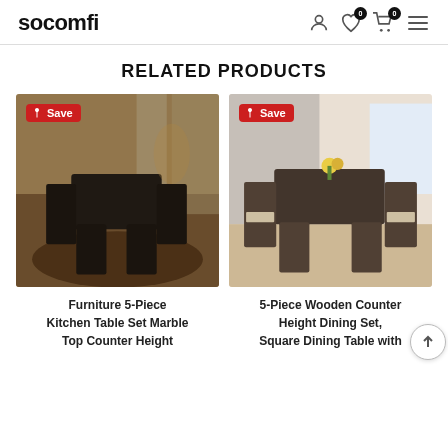socomfi
RELATED PRODUCTS
[Figure (photo): Furniture 5-Piece Kitchen Table Set with marble top counter height, dark finish with black cushioned chairs on a rug in a warm-lit dining room. Pinterest Save badge visible.]
Furniture 5-Piece Kitchen Table Set Marble Top Counter Height
[Figure (photo): 5-Piece Wooden Counter Height Dining Set with square dining table, light-cushioned chairs, wooden finish, in a bright dining room with yellow flowers. Pinterest Save badge visible.]
5-Piece Wooden Counter Height Dining Set, Square Dining Table with